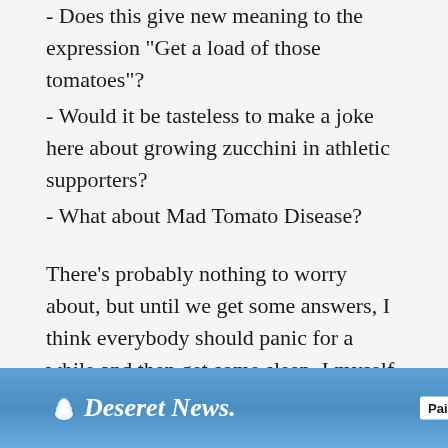- Does this give new meaning to the expression "Get a load of those tomatoes"?
- Would it be tasteless to make a joke here about growing zucchini in athletic supporters?
- What about Mad Tomato Disease?
There's probably nothing to worry about, but until we get some answers, I think everybody should panic for a while and then get some sleep. I myself am suddenly feeling VERY sleepy, so I'm just going to put my head down and . . .
Moo.
[Figure (screenshot): Deseret News paid advertisement banner with house silhouettes in the background]